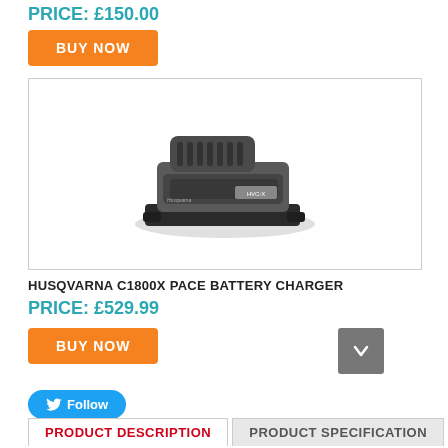PRICE: £150.00
BUY NOW
[Figure (photo): Photo of Husqvarna C1800X Pace Battery Charger, a dark grey compact charger unit with ventilation slots on top]
HUSQVARNA C1800X PACE BATTERY CHARGER
PRICE: £529.99
BUY NOW
Follow
PRODUCT DESCRIPTION
PRODUCT SPECIFICATION
NEED HELP?
DELIVERY & RETURNS